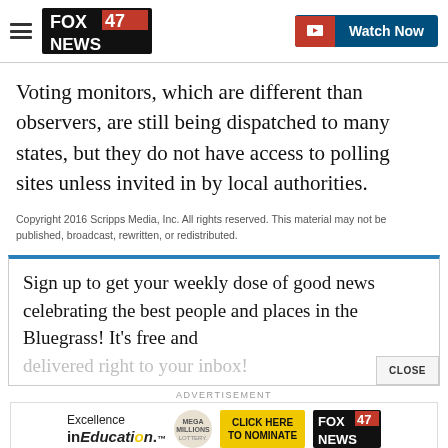[Figure (logo): FOX 47 NEWS logo and navigation header with hamburger menu and Watch Now button]
Voting monitors, which are different than observers, are still being dispatched to many states, but they do not have access to polling sites unless invited in by local authorities.
Copyright 2016 Scripps Media, Inc. All rights reserved. This material may not be published, broadcast, rewritten, or redistributed.
Sign up to get your weekly dose of good news celebrating the best people and places in the Bluegrass! It's free and delivered right to your inbox!
[Figure (infographic): Excellence in Education advertisement banner with FOX47 News logo and Click Here to Nominate button]